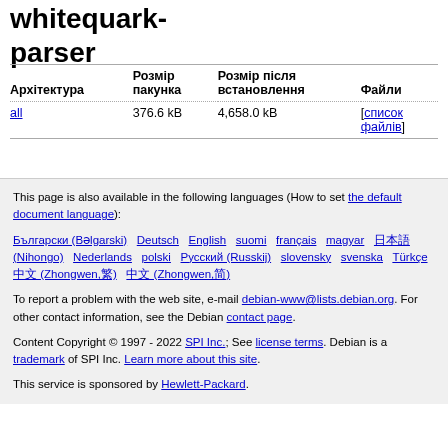whitequark-parser
| Архітектура | Розмір пакунка | Розмір після встановлення | Файли |
| --- | --- | --- | --- |
| all | 376.6 kB | 4,658.0 kB | [список файлів] |
This page is also available in the following languages (How to set the default document language):
Български (Bəlgarski)  Deutsch  English  suomi  français  magyar  日本語 (Nihongo)  Nederlands  polski  Русский (Russkij)  slovensky  svenska  Türkçe  中文 (Zhongwen,繁)  中文 (Zhongwen,简)
To report a problem with the web site, e-mail debian-www@lists.debian.org. For other contact information, see the Debian contact page.
Content Copyright © 1997 - 2022 SPI Inc.; See license terms. Debian is a trademark of SPI Inc. Learn more about this site.
This service is sponsored by Hewlett-Packard.